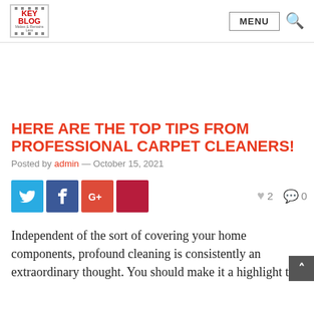KEY BLOG — MENU (navigation bar with logo and search icon)
HERE ARE THE TOP TIPS FROM PROFESSIONAL CARPET CLEANERS!
Posted by admin — October 15, 2021
[Figure (infographic): Social share buttons: Twitter (blue), Facebook (dark blue), Google+ (red-orange), Pinterest (dark red). Like count: 2, Comment count: 0.]
Independent of the sort of covering your home components, profound cleaning is consistently an extraordinary thought. You should make it a highlight to